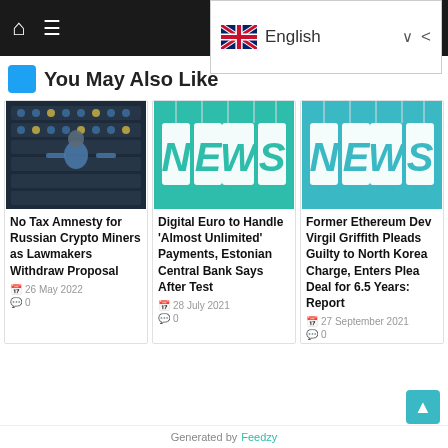Navigation bar with home icon, menu icon, English language selector with UK flag
You May Also Like
[Figure (photo): Photo of a person in front of cryptocurrency mining rigs with many GPUs]
No Tax Amnesty for Russian Crypto Miners as Lawmakers Withdraw Proposal
26 May 2022  0
[Figure (photo): Teal/green background with 3D white NEWS letters hanging]
Digital Euro to Handle 'Almost Unlimited' Payments, Estonian Central Bank Says After Test
28 July 2021  0
[Figure (photo): Teal/green background with 3D white NEWS letters hanging]
Former Ethereum Dev Virgil Griffith Pleads Guilty to North Korea Charge, Enters Plea Deal for 6.5 Years: Report
27 September 2021  0
Generated by Feedzy